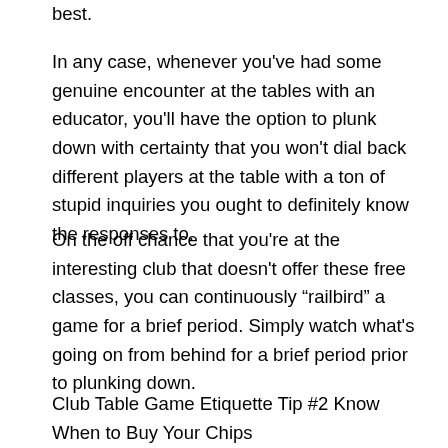best.
In any case, whenever you've had some genuine encounter at the tables with an educator, you'll have the option to plunk down with certainty that you won't dial back different players at the table with a ton of stupid inquiries you ought to definitely know the responses to.
On the off chance that you're at the interesting club that doesn't offer these free classes, you can continuously “railbird” a game for a brief period. Simply watch what's going on from behind for a brief period prior to plunking down.
Club Table Game Etiquette Tip #2 Know When to Buy Your Chips